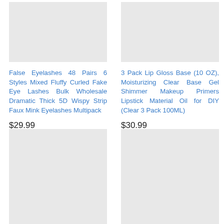[Figure (photo): Gray placeholder image for first product (False Eyelashes)]
False Eyelashes 48 Pairs 6 Styles Mixed Fluffy Curled Fake Eye Lashes Bulk Wholesale Dramatic Thick 5D Wispy Strip Faux Mink Eyelashes Multipack
$29.99
[Figure (photo): Gray placeholder image for second product (Lip Gloss Base)]
3 Pack Lip Gloss Base (10 OZ), Moisturizing Clear Base Gel Shimmer Makeup Primers Lipstick Material Oil for DIY (Clear 3 Pack 100ML)
$30.99
[Figure (photo): Gray placeholder image for third product (bottom left)]
[Figure (photo): Gray placeholder image for fourth product (bottom right)]